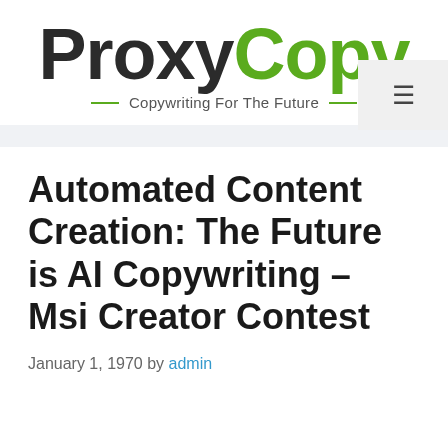[Figure (logo): ProxyCopy logo with 'Proxy' in dark charcoal and 'Copy' in green, with tagline 'Copywriting For The Future' flanked by green dashes]
Automated Content Creation: The Future is AI Copywriting – Msi Creator Contest
January 1, 1970 by admin